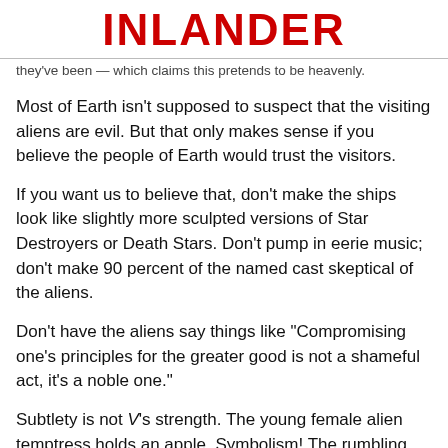INLANDER
they've been — which claims this pretends to be heavenly.
Most of Earth isn't supposed to suspect that the visiting aliens are evil. But that only makes sense if you believe the people of Earth would trust the visitors.
If you want us to believe that, don't make the ships look like slightly more sculpted versions of Star Destroyers or Death Stars. Don't pump in eerie music; don't make 90 percent of the named cast skeptical of the aliens.
Don't have the aliens say things like "Compromising one's principles for the greater good is not a shameful act, it's a noble one."
Subtlety is not V's strength. The young female alien temptress holds an apple. Symbolism! The rumbling from the mother ship knocks a crucifix down from the wall of a Catholic church, and it shatters. Symbolism!